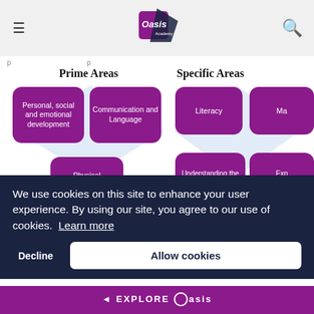Oasis Academy [logo]
[Figure (infographic): Curriculum diagram showing Prime Areas (Personal, social and emotional development; Communication and Language; Physical development) and Specific Areas (Literacy; Ma[thematics]; Understanding the world; Exp[ressive arts and design]) as purple rounded rectangle boxes arranged in a diamond/grid pattern on a light blue background.]
Prime Areas
Specific Are[as]
We use cookies on this site to enhance your user experience. By using our site, you agree to our use of cookies. Learn more
Decline    Allow cookies
◄ EXPLORE Oasis